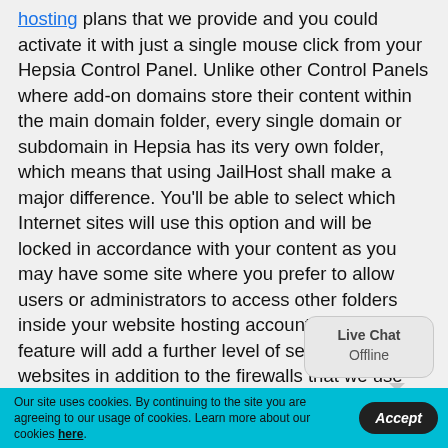hosting plans that we provide and you could activate it with just a single mouse click from your Hepsia Control Panel. Unlike other Control Panels where add-on domains store their content within the main domain folder, every single domain or subdomain in Hepsia has its very own folder, which means that using JailHost shall make a major difference. You'll be able to select which Internet sites will use this option and will be locked in accordance with your content as you may have some site where you prefer to allow users or administrators to access other folders inside your website hosting account. Yet, this feature will add a further level of security to your websites in addition to the firewalls that we use and even if any of your Internet sites gets hacked, you'll be able to restore it really easy using any one of the several daily backups of your entire account which we'll generate.
[Figure (other): Live Chat Offline popup bubble widget]
Our site uses cookies. By continuing to the site you are agreeing to our usage of cookies. Learn more about our cookies here.